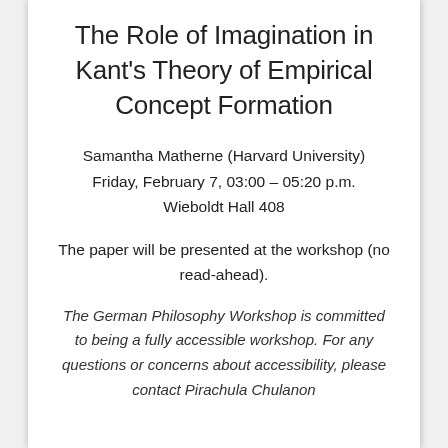The Role of Imagination in Kant's Theory of Empirical Concept Formation
Samantha Matherne (Harvard University)
Friday, February 7, 03:00 – 05:20 p.m.
Wieboldt Hall 408
The paper will be presented at the workshop (no read-ahead).
The German Philosophy Workshop is committed to being a fully accessible workshop. For any questions or concerns about accessibility, please contact Pirachula Chulanon